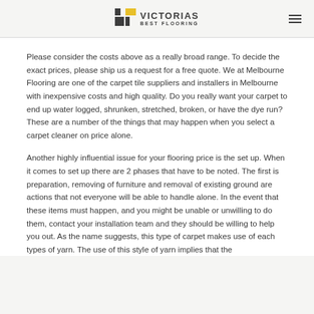VICTORIAS BEST FLOORING
Please consider the costs above as a really broad range. To decide the exact prices, please ship us a request for a free quote. We at Melbourne Flooring are one of the carpet tile suppliers and installers in Melbourne with inexpensive costs and high quality. Do you really want your carpet to end up water logged, shrunken, stretched, broken, or have the dye run? These are a number of the things that may happen when you select a carpet cleaner on price alone.
Another highly influential issue for your flooring price is the set up. When it comes to set up there are 2 phases that have to be noted. The first is preparation, removing of furniture and removal of existing ground are actions that not everyone will be able to handle alone. In the event that these items must happen, and you might be unable or unwilling to do them, contact your installation team and they should be willing to help you out. As the name suggests, this type of carpet makes use of each types of yarn. The use of this style of yarn implies that the